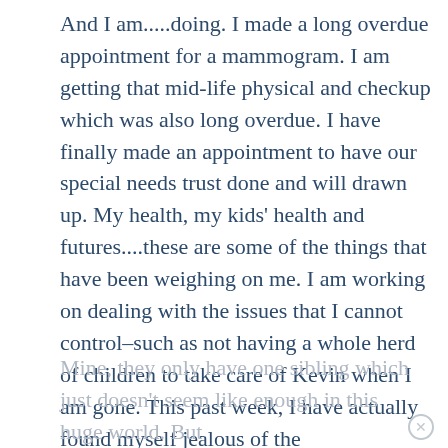And I am.....doing. I made a long overdue appointment for a mammogram. I am getting that mid-life physical and checkup which was also long overdue. I have finally made an appointment to have our special needs trust done and will drawn up. My health, my kids' health and futures....these are some of the things that have been weighing on me. I am working on dealing with the issues that I cannot control–such as not having a whole herd of children to take care of Kevin when I am gone. This past week, I have actually found myself jealous of the Duggars...which just goes to show how irrational anxiety can be. But, with that many children, they at least have each other.
Mine, they only have one sibling which just doesn't seem like enough in this huge world. But